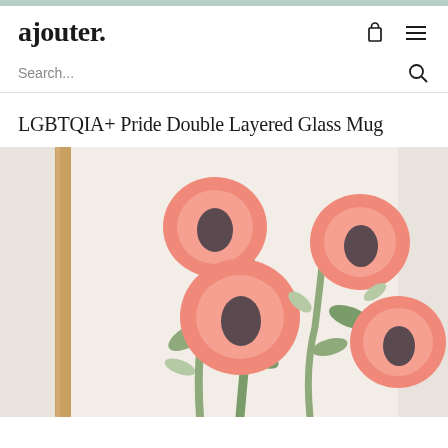ajouter.
Search...
LGBTQIA+ Pride Double Layered Glass Mug
[Figure (photo): Product photo showing a framed floral illustration with large pink/coral poppy-like flowers with dark centers on a light background, alongside green leaves, in a warm wood frame]